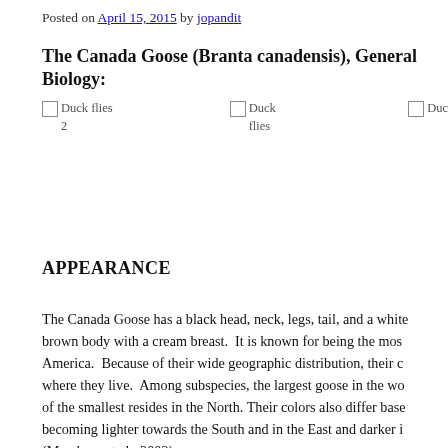Posted on April 15, 2015 by jopandit
The Canada Goose (Branta canadensis), General Biology:
[Figure (photo): Three broken image placeholders labeled 'Duck flies 2', 'Duck flies', and 'Duc' (partially visible), arranged in a row]
APPEARANCE
The Canada Goose has a black head, neck, legs, tail, and a white brown body with a cream breast.  It is known for being the most America.  Because of their wide geographic distribution, their c where they live.  Among subspecies, the largest goose in the wo of the smallest resides in the North. Their colors also differ base becoming lighter towards the South and in the East and darker i (Mowbray et al., 2002)